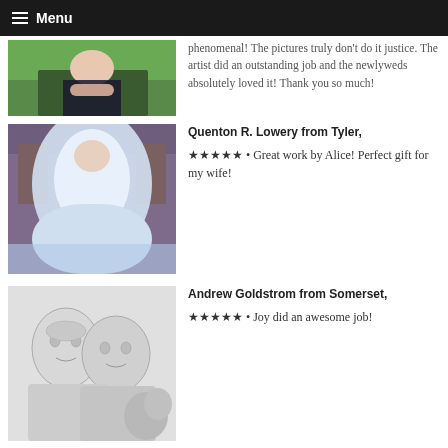Menu
phenomenal! The pictures truly don't do it justice. The artist did an outstanding job and the newlyweds absolutely loved it! Thank you so much!
[Figure (photo): Wedding photo showing bride and groom from behind]
Quenton R. Lowery from Tyler,
★★★★★ • Great work by Alice! Perfect gift for my wife!
[Figure (photo): Photo of a bride in a large white ball gown wedding dress sitting in a room with purple decor]
Andrew Goldstrom from Somerset,
★★★★★ • Joy did an awesome job!
[Figure (illustration): Pencil sketch portrait of two people, a woman and a man, side by side]
Explore
Oil Painting Gallery
Pet Portraits
Portrait Paintings
About Us
Our Company
Privacy Policy
Terms of Service